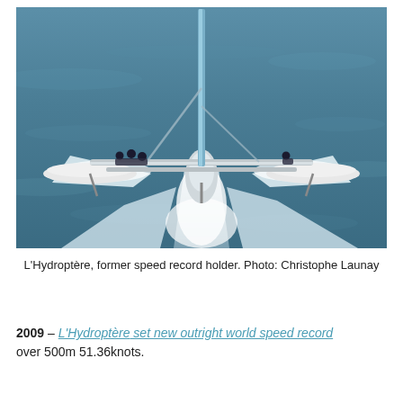[Figure (photo): Aerial photograph of L'Hydroptère hydrofoil trimaran sailing at high speed on blue-green ocean water, leaving a large white wake behind it. The boat has a tall mast and extended outrigger arms. Crew members visible on the deck.]
L'Hydroptère, former speed record holder. Photo: Christophe Launay
2009 – L'Hydroptère set new outright world speed record over 500m 51.36knots.